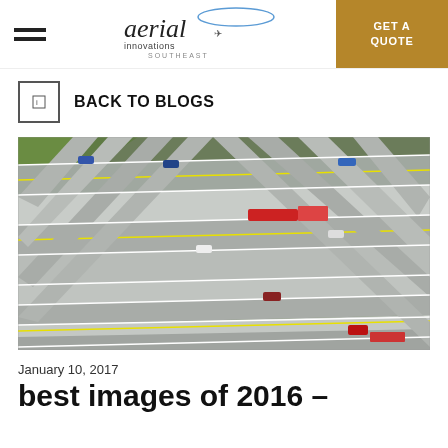Aerial Innovations Southeast — GET A QUOTE
BACK TO BLOGS
[Figure (photo): Aerial drone photograph looking straight down at a complex highway interchange with multiple crossing elevated roads and cars including a red semi-truck and other vehicles visible on the roadways, with green median strips]
January 10, 2017
best images of 2016 –